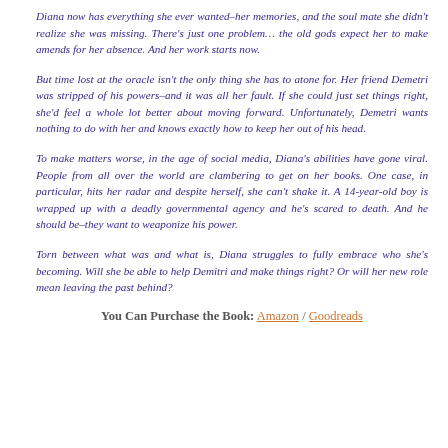Diana now has everything she ever wanted–her memories, and the soul mate she didn't realize she was missing. There's just one problem… the old gods expect her to make amends for her absence. And her work starts now.
But time lost at the oracle isn't the only thing she has to atone for. Her friend Demetri was stripped of his powers–and it was all her fault. If she could just set things right, she'd feel a whole lot better about moving forward. Unfortunately, Demetri wants nothing to do with her and knows exactly how to keep her out of his head.
To make matters worse, in the age of social media, Diana's abilities have gone viral. People from all over the world are clambering to get on her books. One case, in particular, hits her radar and despite herself, she can't shake it. A 14-year-old boy is wrapped up with a deadly governmental agency and he's scared to death. And he should be–they want to weaponize his power.
Torn between what was and what is, Diana struggles to fully embrace who she's becoming. Will she be able to help Demitri and make things right? Or will her new role mean leaving the past behind?
You Can Purchase the Book: Amazon / Goodreads